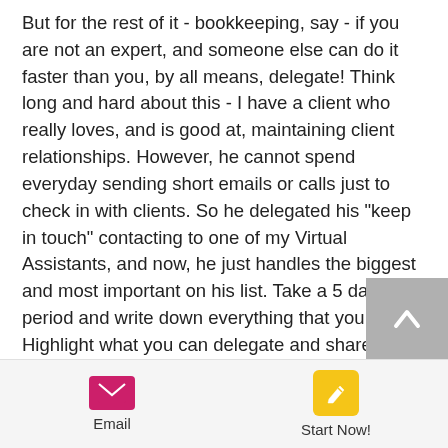But for the rest of it - bookkeeping, say - if you are not an expert, and someone else can do it faster than you, by all means, delegate! Think long and hard about this - I have a client who really loves, and is good at, maintaining client relationships. However, he cannot spend everyday sending short emails or calls just to check in with clients. So he delegated his "keep in touch" contacting to one of my Virtual Assistants, and now, he just handles the biggest and most important on his list. Take a 5 day period and write down everything that you do. Highlight what you can delegate and share that with
[Figure (other): Scroll-to-top button with upward chevron arrow on grey background]
[Figure (other): Bottom navigation bar with Email icon (pink envelope) and Start Now! icon (yellow pencil/edit)]